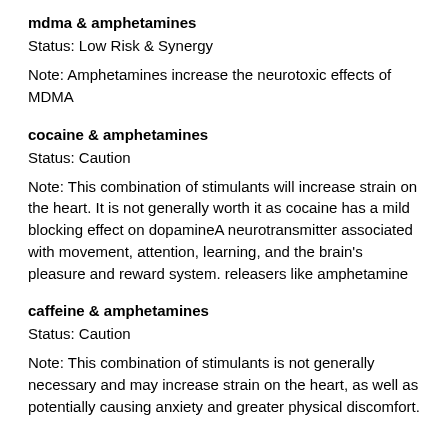mdma & amphetamines
Status: Low Risk & Synergy
Note: Amphetamines increase the neurotoxic effects of MDMA
cocaine & amphetamines
Status: Caution
Note: This combination of stimulants will increase strain on the heart. It is not generally worth it as cocaine has a mild blocking effect on dopamineA neurotransmitter associated with movement, attention, learning, and the brain's pleasure and reward system. releasers like amphetamine
caffeine & amphetamines
Status: Caution
Note: This combination of stimulants is not generally necessary and may increase strain on the heart, as well as potentially causing anxiety and greater physical discomfort.